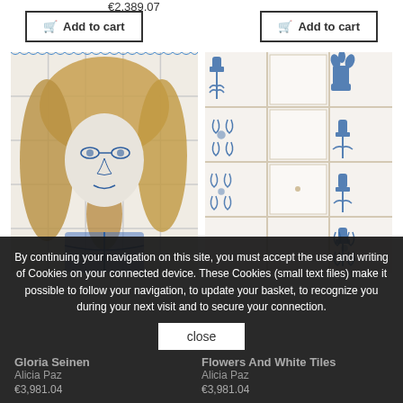€2,389.07
Add to cart
Add to cart
[Figure (photo): Portrait artwork on blue and white ceramic tiles showing a woman with long golden/brown hair and glasses, rendered in blue tile painting style]
[Figure (photo): Close-up of blue and white Delft-style decorative ceramic tiles with tulip and floral motifs, arranged in a grid pattern with grout lines visible]
By continuing your navigation on this site, you must accept the use and writing of Cookies on your connected device. These Cookies (small text files) make it possible to follow your navigation, to update your basket, to recognize you during your next visit and to secure your connection.
close
Gloria Seinen
Alicia Paz
€3,981.04
Flowers And White Tiles
Alicia Paz
€3,981.04